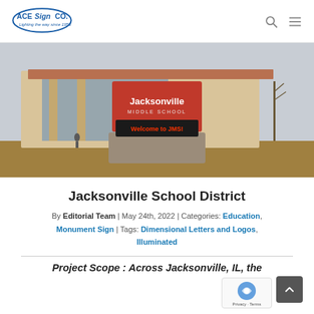Ace Sign Co. [logo] with search and menu icons
[Figure (photo): Outdoor photo of Jacksonville Middle School monument sign — a large red panel sign reading 'Jacksonville MIDDLE SCHOOL' with an LED marquee below reading 'Welcome to JMS!' mounted on a stone base, with the school building visible in the background against a winter sky.]
Jacksonville School District
By Editorial Team | May 24th, 2022 | Categories: Education, Monument Sign | Tags: Dimensional Letters and Logos, Illuminated
Project Scope : Across Jacksonville, IL, the